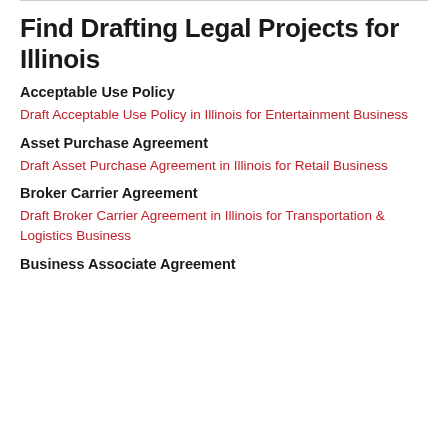Find Drafting Legal Projects for Illinois
Acceptable Use Policy
Draft Acceptable Use Policy in Illinois for Entertainment Business
Asset Purchase Agreement
Draft Asset Purchase Agreement in Illinois for Retail Business
Broker Carrier Agreement
Draft Broker Carrier Agreement in Illinois for Transportation & Logistics Business
Business Associate Agreement